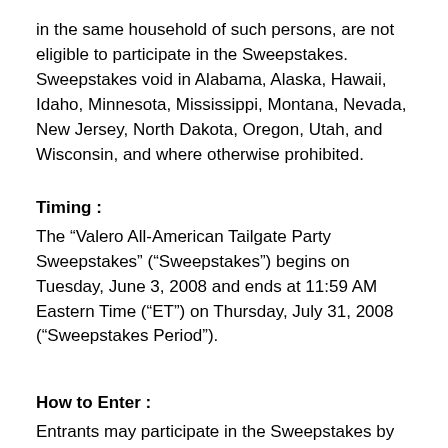in the same household of such persons, are not eligible to participate in the Sweepstakes. Sweepstakes void in Alabama, Alaska, Hawaii, Idaho, Minnesota, Mississippi, Montana, Nevada, New Jersey, North Dakota, Oregon, Utah, and Wisconsin, and where otherwise prohibited.
Timing :
The “Valero All-American Tailgate Party Sweepstakes” (“Sweepstakes”) begins on Tuesday, June 3, 2008 and ends at 11:59 AM Eastern Time (“ET”) on Thursday, July 31, 2008 (“Sweepstakes Period”).
How to Enter :
Entrants may participate in the Sweepstakes by logging on to the Sweepstakes page located at http://msn.foxsports.com/valero (“Sweepstakes Homepage”) and following the on-screen instructions to completely and